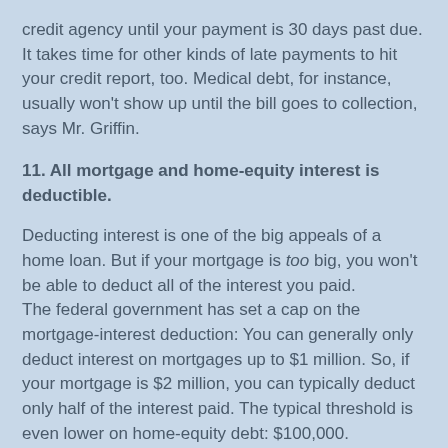credit agency until your payment is 30 days past due. It takes time for other kinds of late payments to hit your credit report, too. Medical debt, for instance, usually won't show up until the bill goes to collection, says Mr. Griffin.
11. All mortgage and home-equity interest is deductible.
Deducting interest is one of the big appeals of a home loan. But if your mortgage is too big, you won't be able to deduct all of the interest you paid.
The federal government has set a cap on the mortgage-interest deduction: You can generally only deduct interest on mortgages up to $1 million. So, if your mortgage is $2 million, you can typically deduct only half of the interest paid. The typical threshold is even lower on home-equity debt: $100,000.
But if you're using some of that home equity for significant home improvements, that portion usually falls under the $1 million cap for mortgage interest instead, says Jeremy Kisner, a certified financial planner and president of SureVest Capital Management in Phoenix.